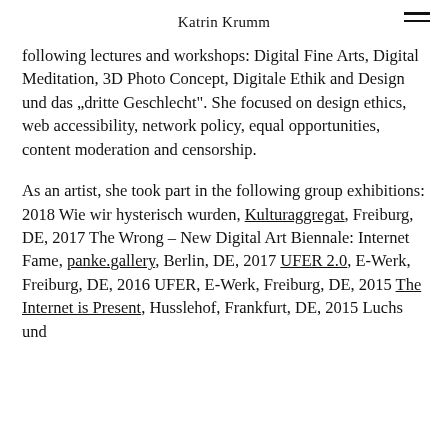Katrin Krumm
following lectures and workshops: Digital Fine Arts, Digital Meditation, 3D Photo Concept, Digitale Ethik and Design und das „dritte Geschlecht". She focused on design ethics, web accessibility, network policy, equal opportunities, content moderation and censorship.
As an artist, she took part in the following group exhibitions: 2018 Wie wir hysterisch wurden, Kulturaggregat, Freiburg, DE, 2017 The Wrong – New Digital Art Biennale: Internet Fame, panke.gallery, Berlin, DE, 2017 UFER 2.0, E-Werk, Freiburg, DE, 2016 UFER, E-Werk, Freiburg, DE, 2015 The Internet is Present, Husslehof, Frankfurt, DE, 2015 Luchs und